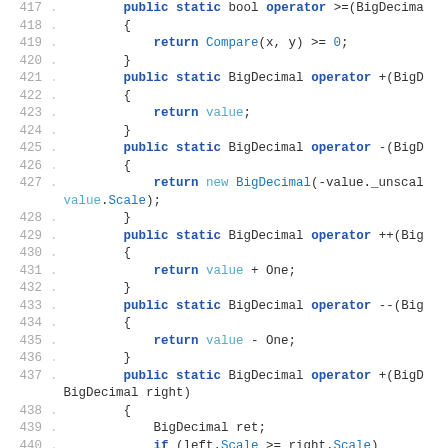Code listing lines 417-442, C# BigDecimal class operator overloads